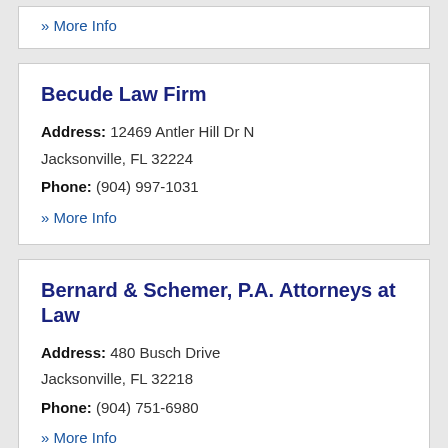» More Info
Becude Law Firm
Address: 12469 Antler Hill Dr N
Jacksonville, FL 32224
Phone: (904) 997-1031
» More Info
Bernard & Schemer, P.A. Attorneys at Law
Address: 480 Busch Drive
Jacksonville, FL 32218
Phone: (904) 751-6980
» More Info